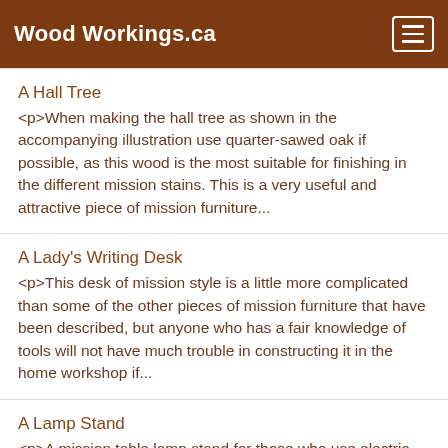Wood Workings.ca
A Hall Tree
<p>When making the hall tree as shown in the accompanying illustration use quarter-sawed oak if possible, as this wood is the most suitable for finishing in the different mission stains. This is a very useful and attractive piece of mission furniture...
A Lady's Writing Desk
<p>This desk of mission style is a little more complicated than some of the other pieces of mission furniture that have been described, but anyone who has a fair knowledge of tools will not have much trouble in constructing it in the home workshop if...
A Lamp Stand
<p>A mission table lamp stand for those who use electric lights is shown in the accompanying illustration. It is suitable for either the office or the